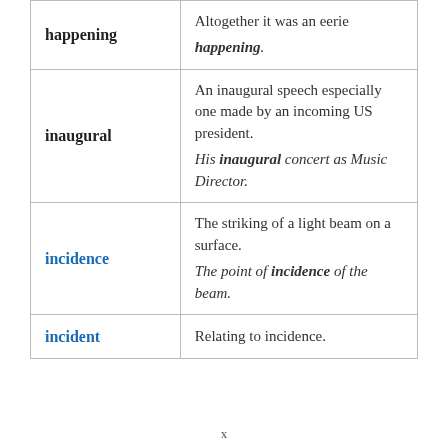| Term | Definition / Example |
| --- | --- |
| happening | Altogether it was an eerie happening. |
| inaugural | An inaugural speech especially one made by an incoming US president.
His inaugural concert as Music Director. |
| incidence | The striking of a light beam on a surface.
The point of incidence of the beam. |
| incident | Relating to incidence. |
x